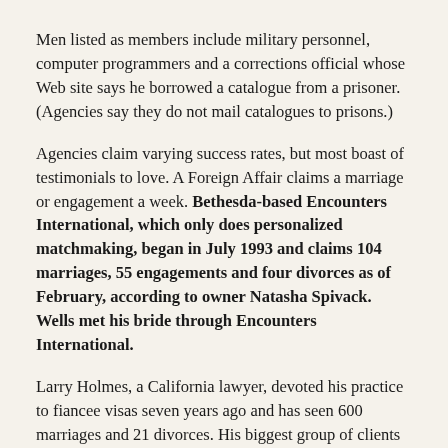Men listed as members include military personnel, computer programmers and a corrections official whose Web site says he borrowed a catalogue from a prisoner. (Agencies say they do not mail catalogues to prisons.)
Agencies claim varying success rates, but most boast of testimonials to love. A Foreign Affair claims a marriage or engagement a week. Bethesda-based Encounters International, which only does personalized matchmaking, began in July 1993 and claims 104 marriages, 55 engagements and four divorces as of February, according to owner Natasha Spivack. Wells met his bride through Encounters International.
Larry Holmes, a California lawyer, devoted his practice to fiancee visas seven years ago and has seen 600 marriages and 21 divorces. His biggest group of clients is doctors.
Holmes said he takes referrals from only a few agencies because "it's too easy to be a crook and cheat people when you're dealing with their emotions."
Not only emotions, but fantasies.
One member of RWL put it this way: "I wanted a drop-dead